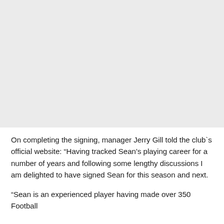[Figure (photo): Large light grey placeholder image area at the top of the page]
On completing the signing, manager Jerry Gill told the club`s official website: “Having tracked Sean’s playing career for a number of years and following some lengthy discussions I am delighted to have signed Sean for this season and next.
“Sean is an experienced player having made over 350 Football